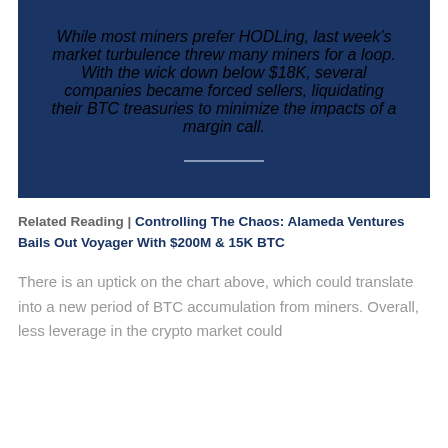While most miners prefer HODLing, last week's market turbulence threw many miners for a loop. With the wick down below $18K, several companies became forced sellers, liquidating their BTC treasuries to minimize the impacts of a margin call.
Related Reading | Controlling The Chaos: Alameda Ventures Bails Out Voyager With $200M & 15K BTC
There is an uptick on the chart above, which could translate into a new period of BTC accumulation from miners. Overall, less leverage in the crypto market could